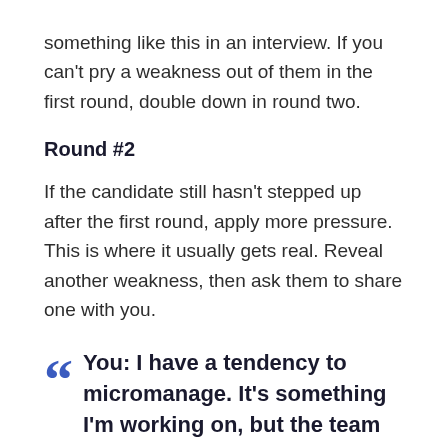something like this in an interview. If you can't pry a weakness out of them in the first round, double down in round two.
Round #2
If the candidate still hasn't stepped up after the first round, apply more pressure. This is where it usually gets real. Reveal another weakness, then ask them to share one with you.
You: I have a tendency to micromanage. It's something I'm working on, but the team